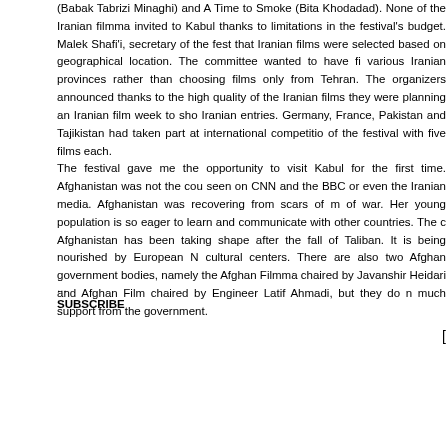(Babak Tabrizi Minaghi) and A Time to Smoke (Bita Khodadad). None of the Iranian filmma invited to Kabul thanks to limitations in the festival's budget. Malek Shafi'i, secretary of the fes that Iranian films were selected based on geographical location. The committee wanted to have fi various Iranian provinces rather than choosing films only from Tehran. The organizers announced thanks to the high quality of the Iranian films they were planning an Iranian film week to sho Iranian entries. Germany, France, Pakistan and Tajikistan had taken part at international competitio of the festival with five films each. The festival gave me the opportunity to visit Kabul for the first time. Afghanistan was not the cou seen on CNN and the BBC or even the Iranian media. Afghanistan was recovering from scars of m of war. Her young population is so eager to learn and communicate with other countries. The c Afghanistan has been taking shape after the fall of Taliban. It is being nourished by European N cultural centers. There are also two Afghan government bodies, namely the Afghan Filmma chaired by Javanshir Heidari and Afghan Film chaired by Engineer Latif Ahmadi, but they do n much support from the government.
...
SUBSCRIBE